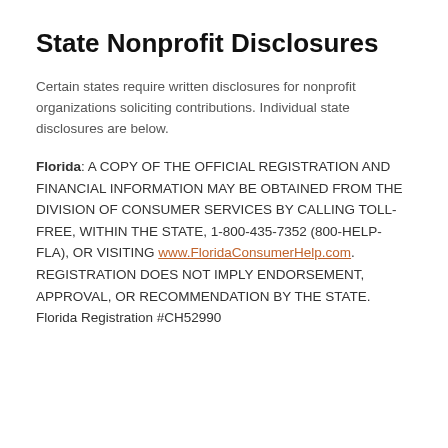State Nonprofit Disclosures
Certain states require written disclosures for nonprofit organizations soliciting contributions. Individual state disclosures are below.
Florida: A COPY OF THE OFFICIAL REGISTRATION AND FINANCIAL INFORMATION MAY BE OBTAINED FROM THE DIVISION OF CONSUMER SERVICES BY CALLING TOLL-FREE, WITHIN THE STATE, 1-800-435-7352 (800-HELP-FLA), OR VISITING www.FloridaConsumerHelp.com. REGISTRATION DOES NOT IMPLY ENDORSEMENT, APPROVAL, OR RECOMMENDATION BY THE STATE. Florida Registration #CH52990